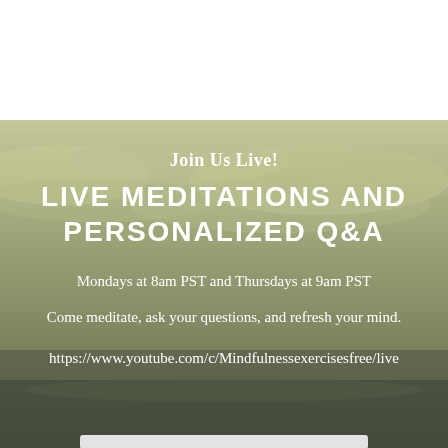[Figure (photo): Misty outdoor landscape with overcast sky and olive/khaki tones serving as background for text overlay]
Join Us Live!
LIVE MEDITATIONS AND PERSONALIZED Q&A
Mondays at 8am PST and Thursdays at 9am PST
Come meditate, ask your questions, and refresh your mind.
https://www.youtube.com/c/Mindfulnessexercisesfree/live